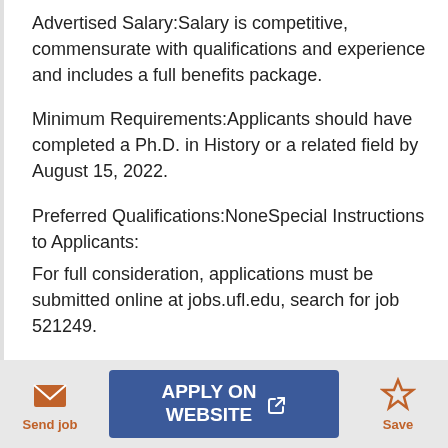Advertised Salary:Salary is competitive, commensurate with qualifications and experience and includes a full benefits package.
Minimum Requirements:Applicants should have completed a Ph.D. in History or a related field by August 15, 2022.
Preferred Qualifications:NoneSpecial Instructions to Applicants:
For full consideration, applications must be submitted online at jobs.ufl.edu, search for job 521249.
A complete application includes (1) a letter of
Send job
APPLY ON WEBSITE
Save